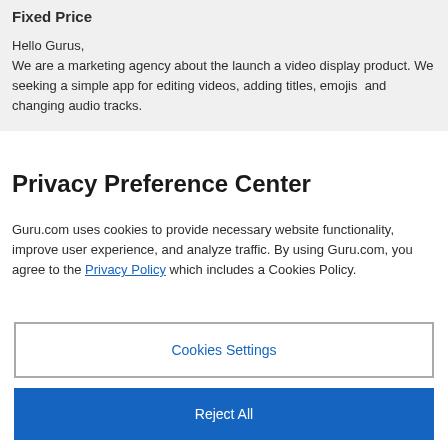Fixed Price
Hello Gurus,
We are a marketing agency about the launch a video display product. We seeking a simple app for editing videos, adding titles, emojis  and changing audio tracks.
Privacy Preference Center
Guru.com uses cookies to provide necessary website functionality, improve user experience, and analyze traffic. By using Guru.com, you agree to the Privacy Policy which includes a Cookies Policy.
Cookies Settings
Reject All
Accept All Cookies